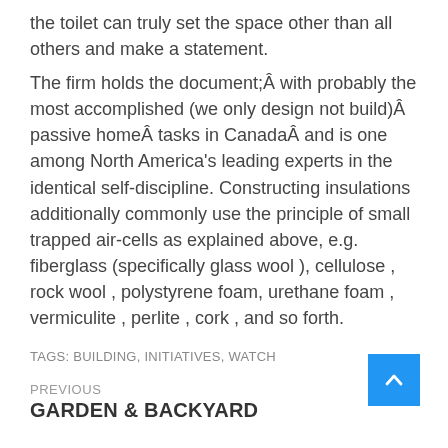the toilet can truly set the space other than all others and make a statement.
The firm holds the document;Â with probably the most accomplished (we only design not build)Â passive homeÂ tasks in CanadaÂ and is one among North America's leading experts in the identical self-discipline. Constructing insulations additionally commonly use the principle of small trapped air-cells as explained above, e.g. fiberglass (specifically glass wool ), cellulose , rock wool , polystyrene foam, urethane foam , vermiculite , perlite , cork , and so forth.
TAGS: BUILDING, INITIATIVES, WATCH
PREVIOUS
GARDEN & BACKYARD